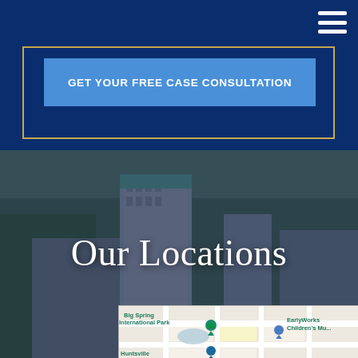[Figure (screenshot): Dark navy blue header section with hamburger menu icon in top right corner]
GET YOUR FREE CASE CONSULTATION
[Figure (photo): Aerial city photo with dark blue overlay, showing downtown Huntsville Alabama buildings and cityscape]
Our Locations
[Figure (map): Google Maps screenshot showing downtown Huntsville area with landmarks: Big Spring International Park, Huntsville Museum of Art, EarlyWorks Children's Museum, and Cruse Ave]